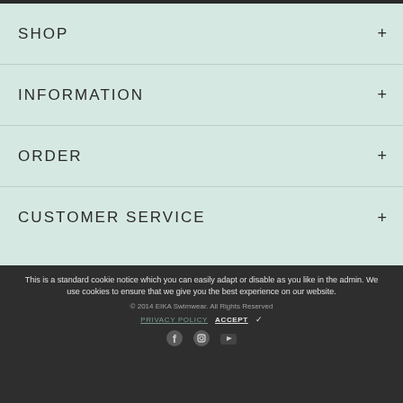SHOP +
INFORMATION +
ORDER +
CUSTOMER SERVICE +
This is a standard cookie notice which you can easily adapt or disable as you like in the admin. We use cookies to ensure that we give you the best experience on our website.
© 2014 EIKA Swimwear. All Rights Reserved
PRIVACY POLICY   ACCEPT ✓